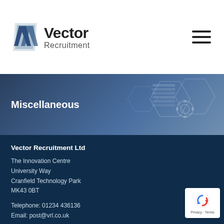[Figure (logo): Vector Recruitment logo with stylized V mark and company name]
[Figure (photo): Banner image with dark blue tech/server background and text Miscellaneous]
Miscellaneous
Vector Recruitment Ltd
The Innovation Centre
University Way
Cranfield Technology Park
MK43 0BT
Telephone: 01234 436136
Email: post@vrl.co.uk
Quick Links
About us
[Figure (logo): reCAPTCHA badge with Privacy and Terms links]